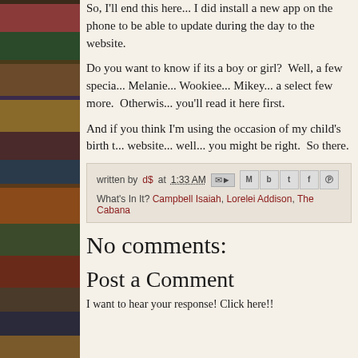So, I'll end this here... I did install a new app on the phone to be able to update during the day to the website.
Do you want to know if its a boy or girl?  Well, a few special... Melanie... Wookiee... Mikey... a select few more.  Otherwise, you'll read it here first.
And if you think I'm using the occasion of my child's birth to... website... well... you might be right.  So there.
written by d$ at 1:33 AM  What's In It? Campbell Isaiah, Lorelei Addison, The Cabana
No comments:
Post a Comment
I want to hear your response! Click here!!